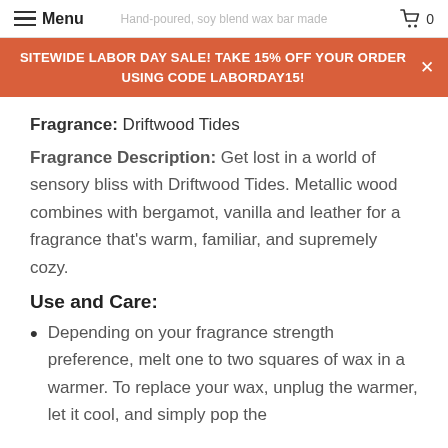Menu  Hand-poured, soy blend wax bar made  0
SITEWIDE LABOR DAY SALE! TAKE 15% OFF YOUR ORDER USING CODE LABORDAY15!
Fragrance: Driftwood Tides
Fragrance Description: Get lost in a world of sensory bliss with Driftwood Tides. Metallic wood combines with bergamot, vanilla and leather for a fragrance that's warm, familiar, and supremely cozy.
Use and Care:
Depending on your fragrance strength preference, melt one to two squares of wax in a warmer. To replace your wax, unplug the warmer, let it cool, and simply pop the